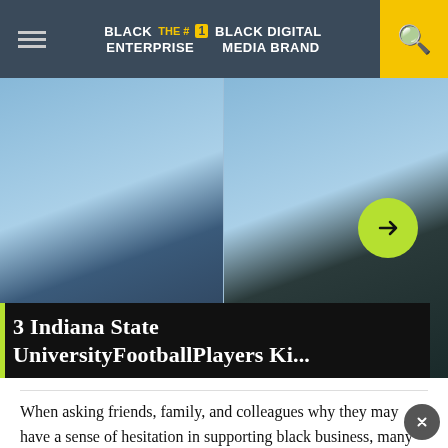BLACK ENTERPRISE THE #1 BLACK DIGITAL MEDIA BRAND
[Figure (photo): Two Black men in blue polo shirts photographed from the chest/neck up, side by side, against a light blue background]
3 Indiana State UniversityFootballPlayers Ki...
When asking friends, family, and colleagues why they may have a sense of hesitation in supporting black business, many site a general lack of good customer service as a reason for opting for another option. It is our social responsibility, as a community, to raise the standard for ourselves as business owners, to ensure our community is